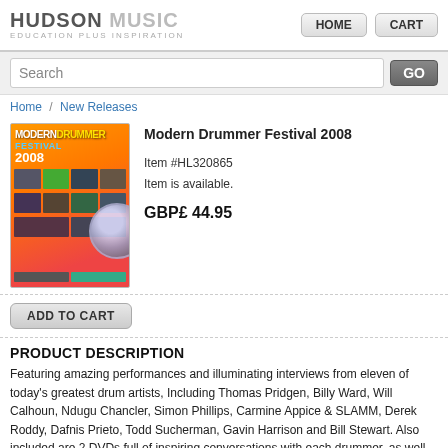HUDSON MUSIC — EDUCATION plus INSPIRATION | HOME | CART
Search
Home / New Releases
[Figure (photo): DVD cover for Modern Drummer Festival 2008 showing performers]
Modern Drummer Festival 2008
Item #HL320865
Item is available.
GBP£ 44.95
ADD TO CART
PRODUCT DESCRIPTION
Featuring amazing performances and illuminating interviews from eleven of today's greatest drum artists, Including Thomas Pridgen, Billy Ward, Will Calhoun, Ndugu Chancler, Simon Phillips, Carmine Appice & SLAMM, Derek Roddy, Dafnis Prieto, Todd Sucherman, Gavin Harrison and Bill Stewart. Also included are 2 DVDs full of inspiring conversations with each drummer, as well as unprecedented drummer-to-drummer interviews, such as Simon Phillips, Gavin Harrison, Ndugu Chancler, Will Calhoun and To...